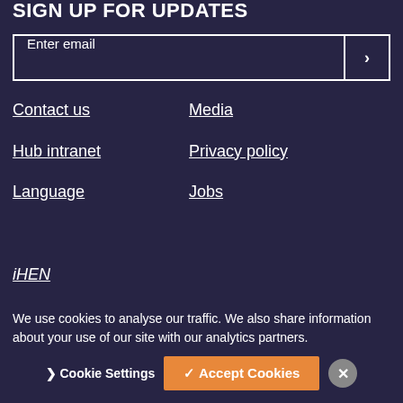SIGN UP FOR UPDATES
Enter email
Contact us
Media
Hub intranet
Privacy policy
Language
Jobs
iHEN
[Figure (other): Social media icons row with dash separator]
We use cookies to analyse our traffic. We also share information about your use of our site with our analytics partners.
Cookie Settings  ✓ Accept Cookies  ×